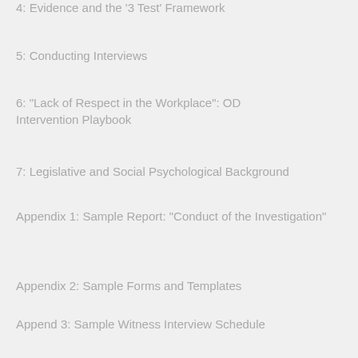4: Evidence and the '3 Test' Framework
5: Conducting Interviews
6: "Lack of Respect in the Workplace": OD Intervention Playbook
7: Legislative and Social Psychological Background
Appendix 1: Sample Report: "Conduct of the Investigation"
Appendix 2: Sample Forms and Templates
Append 3: Sample Witness Interview Schedule
Appendix 4: The Right Talent: What We Do